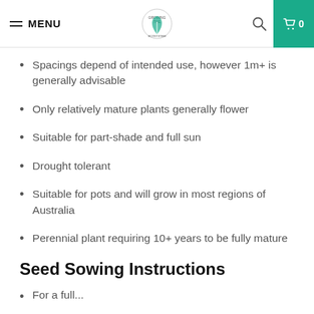MENU | [logo] | [search] | Cart 0
Spacings depend of intended use, however 1m+ is generally advisable
Only relatively mature plants generally flower
Suitable for part-shade and full sun
Drought tolerant
Suitable for pots and will grow in most regions of Australia
Perennial plant requiring 10+ years to be fully mature
Seed Sowing Instructions
For a full...